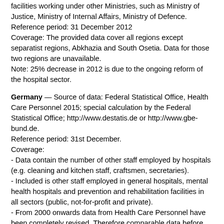facilities working under other Ministries, such as Ministry of Justice, Ministry of Internal Affairs, Ministry of Defence.
Reference period: 31 December 2012
Coverage: The provided data cover all regions except separatist regions, Abkhazia and South Osetia. Data for those two regions are unavailable.
Note: 25% decrease in 2012 is due to the ongoing reform of the hospital sector.
Germany — Source of data: Federal Statistical Office, Health Care Personnel 2015; special calculation by the Federal Statistical Office; http://www.destatis.de or http://www.gbe-bund.de.
Reference period: 31st December.
Coverage:
- Data contain the number of other staff employed by hospitals (e.g. cleaning and kitchen staff, craftsmen, secretaries).
- Included is other staff employed in general hospitals, mental health hospitals and prevention and rehabilitation facilities in all sectors (public, not-for-profit and private).
- From 2000 onwards data from Health Care Personnel have been completely revised. Therefore comparable data before 2000 is not available.
Estimation method: The number of FTE is calculated by adding